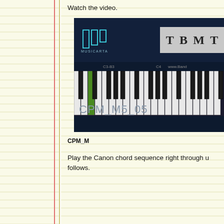Watch the video.
[Figure (screenshot): Musicarta interactive piano keyboard application screenshot showing CPM_M5_05, with TBMT controls panel, a piano keyboard with a green highlighted key, note labels C3-B3 and C4, and the label CPM_M5_05 at the bottom.]
CPM_M
Play the Canon chord sequence right through using the fingering as follows.